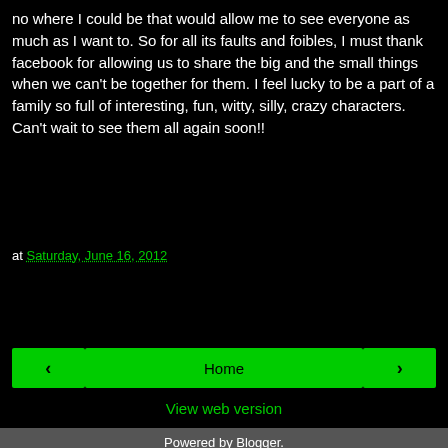no where I could be that would allow me to see everyone as much as I want to. So for all its faults and foibles, I must thank facebook for allowing us to share the big and the small things when we can't be together for them. I feel lucky to be a part of a family so full of interesting, fun, witty, silly, crazy characters. Can't wait to see them all again soon!!
at Saturday, June 16, 2012
Share
‹
Home
›
View web version
Powered by Blogger.